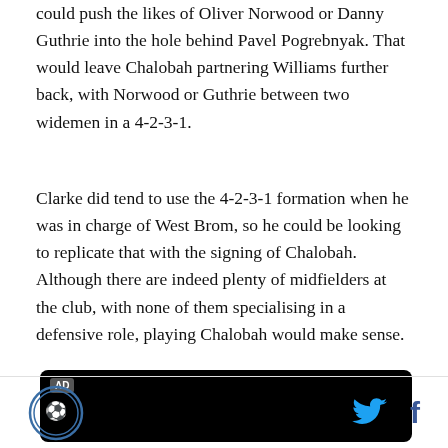could push the likes of Oliver Norwood or Danny Guthrie into the hole behind Pavel Pogrebnyak. That would leave Chalobah partnering Williams further back, with Norwood or Guthrie between two widemen in a 4-2-3-1.
Clarke did tend to use the 4-2-3-1 formation when he was in charge of West Brom, so he could be looking to replicate that with the signing of Chalobah. Although there are indeed plenty of midfielders at the club, with none of them specialising in a defensive role, playing Chalobah would make sense.
[Figure (other): Black advertisement banner with AD label in top-left corner]
Site logo on left, Twitter and Facebook icons on right